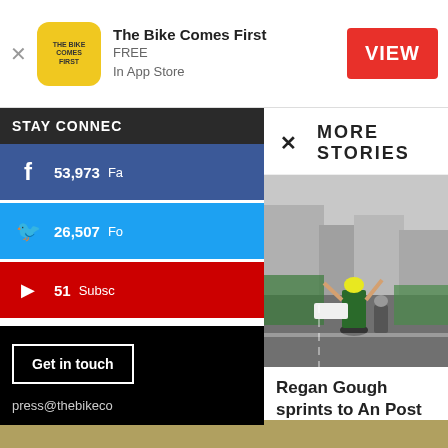The Bike Comes First — FREE In App Store — VIEW
STAY CONNEC
f 53,973 Fa
26,507 Fo
51 Subsc
Get in touch
press@thebikeco
MORE STORIES
[Figure (photo): Cyclist in green and blue jersey celebrating stage win with both arms raised at finish line, crowd on sides of road]
Regan Gough sprints to An Post Rás stage win as James…
TBCF  -  May 25, 2017